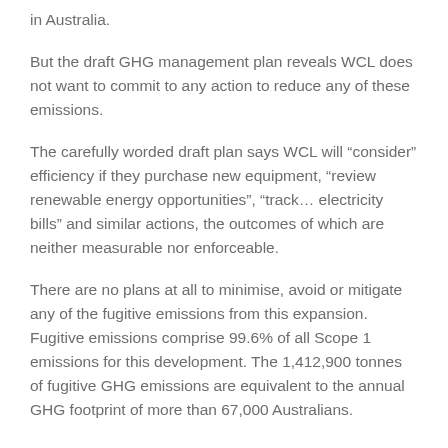in Australia.
But the draft GHG management plan reveals WCL does not want to commit to any action to reduce any of these emissions.
The carefully worded draft plan says WCL will “consider” efficiency if they purchase new equipment, “review renewable energy opportunities”, “track… electricity bills” and similar actions, the outcomes of which are neither measurable nor enforceable.
There are no plans at all to minimise, avoid or mitigate any of the fugitive emissions from this expansion. Fugitive emissions comprise 99.6% of all Scope 1 emissions for this development. The 1,412,900 tonnes of fugitive GHG emissions are equivalent to the annual GHG footprint of more than 67,000 Australians.